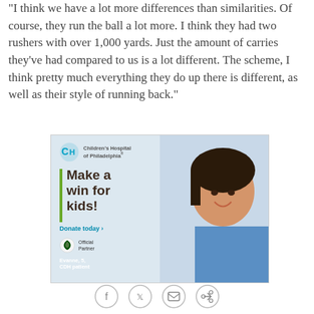"I think we have a lot more differences than similarities. Of course, they run the ball a lot more. I think they had two rushers with over 1,000 yards. Just the amount of carries they've had compared to us is a lot different. The scheme, I think pretty much everything they do up there is different, as well as their style of running back."
[Figure (photo): Children's Hospital of Philadelphia advertisement featuring a smiling young girl (Evanne, 5, CDH patient) with text 'Make a win for kids! Donate today' and Eagles Official Partner logo]
[Figure (infographic): Social media sharing icons: Facebook, Twitter, Email, Link]